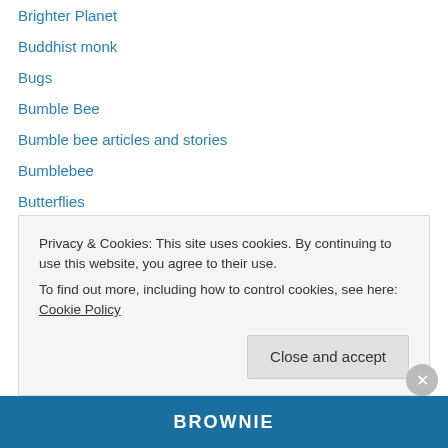Brighter Planet
Buddhist monk
Bugs
Bumble Bee
Bumble bee articles and stories
Bumblebee
Butterflies
Butterflies and Gardens Newsletter
Butterflies and Moths Organization
Butterfly
Butterfly articles and stories
Butterfly Corner
Butterfly Garden
Butterfly Gardens
Privacy & Cookies: This site uses cookies. By continuing to use this website, you agree to their use. To find out more, including how to control cookies, see here: Cookie Policy
Close and accept